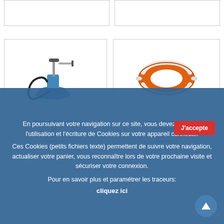[Figure (other): Top product cards (partially visible, empty)]
[Figure (photo): Pistolet Graisseur - a blue grease gun pump with hose]
[Figure (photo): Bouée Couronne - an orange life ring buoy]
Pistolet Graisseur
De...
370,32 € TTC
306,05 € HT
Bouée Couronne Homologuée...
44,29 € TTC
36,60 € HT
En poursuivant votre navigation sur ce site, vous devez accepter l'utilisation et l'écriture de Cookies sur votre appareil connecté.
Ces Cookies (petits fichiers texte) permettent de suivre votre navigation, actualiser votre panier, vous reconnaître lors de votre prochaine visite et sécuriser votre connexion.
Pour en savoir plus et paramétrer les traceurs:
cliquez ici